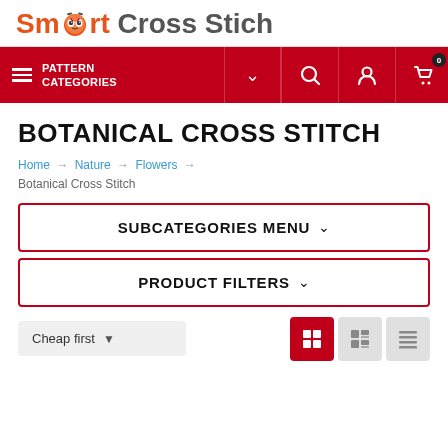[Figure (logo): Smart Cross Stich logo with owl icon replacing the letter 'o' in Smart]
PATTERN CATEGORIES
BOTANICAL CROSS STITCH
Home → Nature → Flowers → Botanical Cross Stitch
SUBCATEGORIES MENU
PRODUCT FILTERS
Cheap first